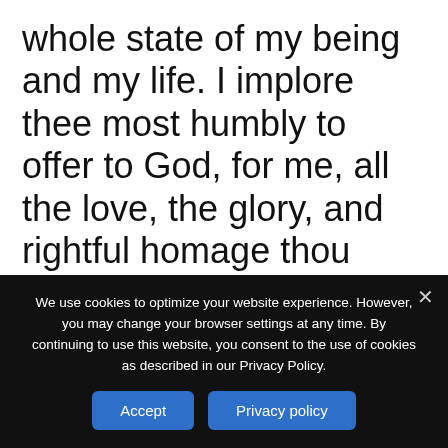whole state of my being and my life. I implore thee most humbly to offer to God, for me, all the love, the glory, and rightful homage thou didst render to Him at thy birth, by way of satisfaction for my faults, and to cause, by thy prayers and merits,
We use cookies to optimize your website experience. However, you may change your browser settings at any time. By continuing to use this website, you consent to the use of cookies as described in our Privacy Policy.